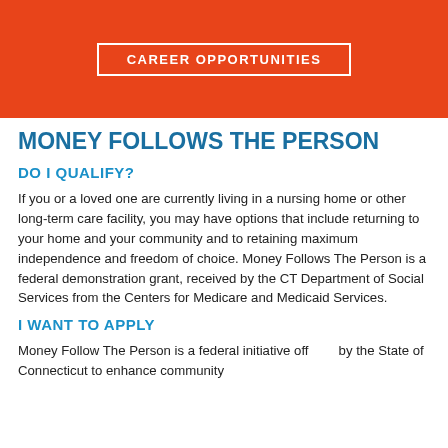CAREER OPPORTUNITIES
MONEY FOLLOWS THE PERSON
DO I QUALIFY?
If you or a loved one are currently living in a nursing home or other long-term care facility, you may have options that include returning to your home and your community and to retaining maximum independence and freedom of choice. Money Follows The Person is a federal demonstration grant, received by the CT Department of Social Services from the Centers for Medicare and Medicaid Services.
I WANT TO APPLY
Money Follow The Person is a federal initiative offered by the State of Connecticut to enhance community